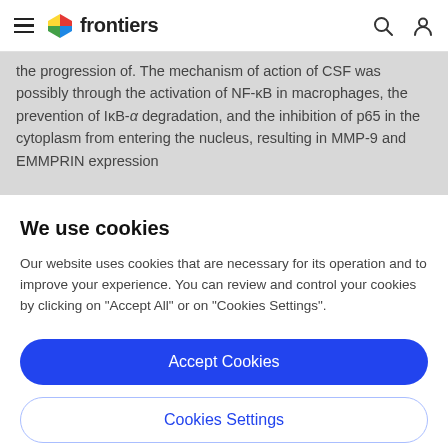frontiers
the progression of. The mechanism of action of CSF was possibly through the activation of NF-κB in macrophages, the prevention of IκB-α degradation, and the inhibition of p65 in the cytoplasm from entering the nucleus, resulting in MMP-9 and EMMPRIN expression
We use cookies
Our website uses cookies that are necessary for its operation and to improve your experience. You can review and control your cookies by clicking on "Accept All" or on "Cookies Settings".
Accept Cookies
Cookies Settings